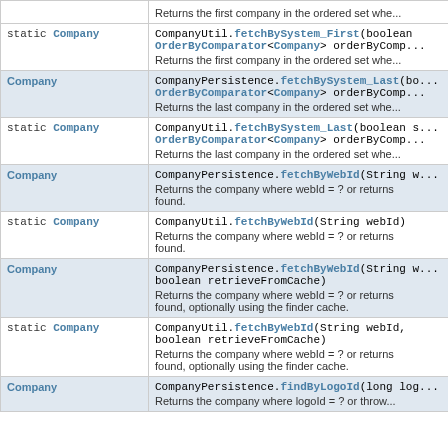| Type | Method and Description |
| --- | --- |
|  | Returns the first company in the ordered set whe... |
| static Company | CompanyUtil.fetchBySystem_First(boolean... OrderByComparator<Company> orderByComp...
Returns the first company in the ordered set whe... |
| Company | CompanyPersistence.fetchBySystem_Last(bo... OrderByComparator<Company> orderByComp...
Returns the last company in the ordered set whe... |
| static Company | CompanyUtil.fetchBySystem_Last(boolean s... OrderByComparator<Company> orderByComp...
Returns the last company in the ordered set whe... |
| Company | CompanyPersistence.fetchByWebId(String w...
Returns the company where webId = ? or returns null if it could not be found. |
| static Company | CompanyUtil.fetchByWebId(String webId)
Returns the company where webId = ? or returns null if it could not be found. |
| Company | CompanyPersistence.fetchByWebId(String w... boolean retrieveFromCache)
Returns the company where webId = ? or returns null if it could not be found, optionally using the finder cache. |
| static Company | CompanyUtil.fetchByWebId(String webId, boolean retrieveFromCache)
Returns the company where webId = ? or returns null if it could not be found, optionally using the finder cache. |
| Company | CompanyPersistence.findByLogoId(long log...
Returns the company where logoId = ? or throw... |